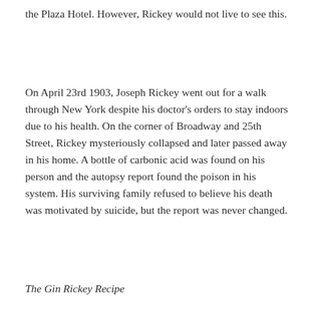the Plaza Hotel. However, Rickey would not live to see this.
On April 23rd 1903, Joseph Rickey went out for a walk through New York despite his doctor's orders to stay indoors due to his health. On the corner of Broadway and 25th Street, Rickey mysteriously collapsed and later passed away in his home. A bottle of carbonic acid was found on his person and the autopsy report found the poison in his system. His surviving family refused to believe his death was motivated by suicide, but the report was never changed.
The Gin Rickey Recipe